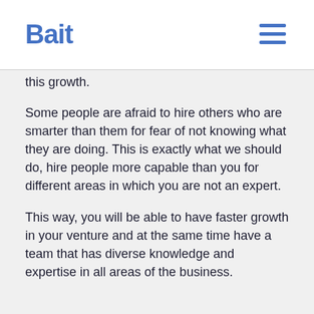Bait
this growth.
Some people are afraid to hire others who are smarter than them for fear of not knowing what they are doing. This is exactly what we should do, hire people more capable than you for different areas in which you are not an expert.
This way, you will be able to have faster growth in your venture and at the same time have a team that has diverse knowledge and expertise in all areas of the business.